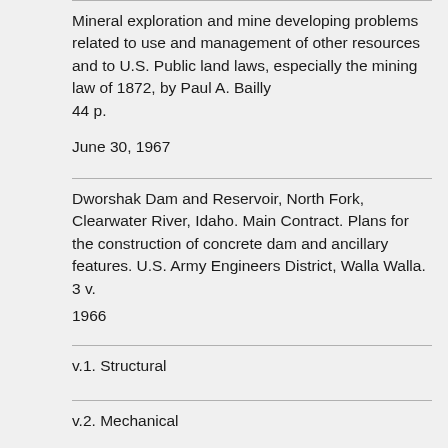Mineral exploration and mine developing problems related to use and management of other resources and to U.S. Public land laws, especially the mining law of 1872, by Paul A. Bailly
44 p.
June 30, 1967
Dworshak Dam and Reservoir, North Fork, Clearwater River, Idaho. Main Contract. Plans for the construction of concrete dam and ancillary features. U.S. Army Engineers District, Walla Walla. 3 v.
1966
v.1. Structural
v.2. Mechanical